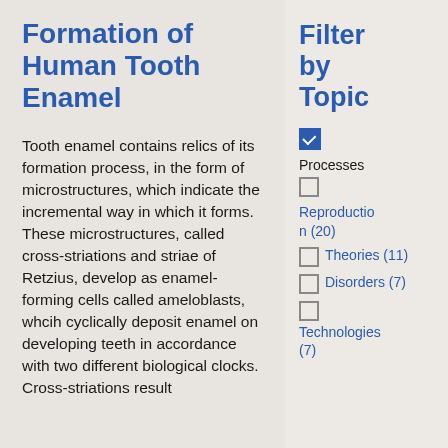Formation of Human Tooth Enamel
Tooth enamel contains relics of its formation process, in the form of microstructures, which indicate the incremental way in which it forms. These microstructures, called cross-striations and striae of Retzius, develop as enamel-forming cells called ameloblasts, whcih cyclically deposit enamel on developing teeth in accordance with two different biological clocks. Cross-striations result
Filter by Topic
☑ Processes
☐ Reproduction (20)
☐ Theories (11)
☐ Disorders (7)
☐ Technologies (7)